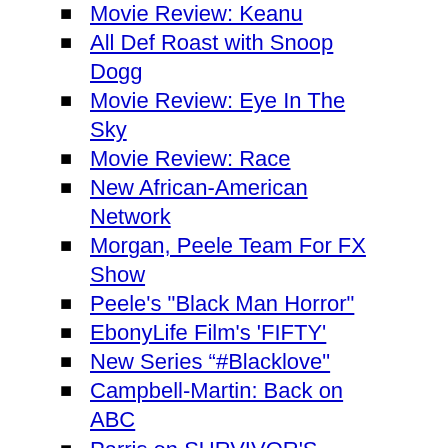'Come Edge' on ASPiRE
Movie Review: Keanu
All Def Roast with Snoop Dogg
Movie Review: Eye In The Sky
Movie Review: Race
New African-American Network
Morgan, Peele Team For FX Show
Peele's "Black Man Horror"
EbonyLife Film's 'FIFTY'
New Series “#Blacklove"
Campbell-Martin: Back on ABC
Parris on SURVIVOR'S